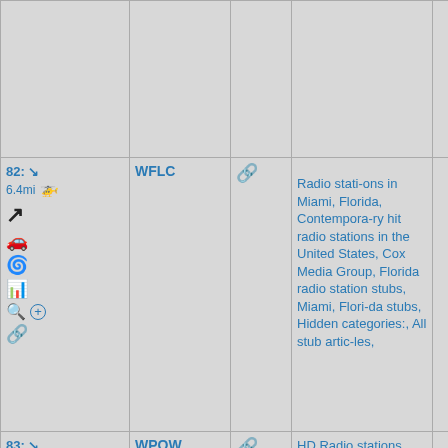| Location | Station | Link | Categories | Extra |
| --- | --- | --- | --- | --- |
|  |  |  |  |  |
| 82: ↘ 6.4mi [icons] | WFLC | 🔗 | Radio stations in Miami, Florida, Contemporary hit radio stations in the United States, Cox Media Group, Florida radio station stubs, Miami, Florida stubs, Hidden categories:, All stub articles, |  |
| 83: ↘ 6.5mi | WPOW | 🔗 | HD Radio stations, CBS |  |